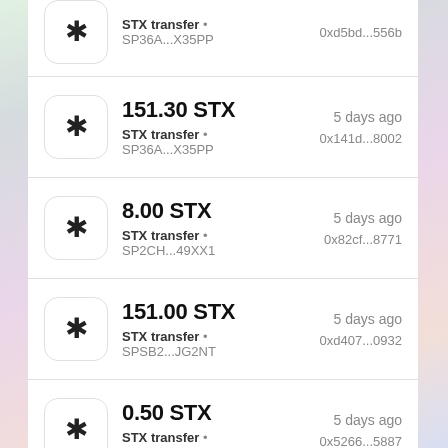STX transfer • SP36A...X35PP | 0xd5bd...556b
151.30 STX | STX transfer • SP36A...X35PP | 5 days ago | 0x141d...8002
8.00 STX | STX transfer • SP2CH...49XX1 | 5 days ago | 0x82cf...8771
151.00 STX | STX transfer • SPSB2...JG2NT | 5 days ago | 0xd407...0932
0.50 STX | STX transfer • SP2CH...49XX1 | 5 days ago | 0x5266...5887